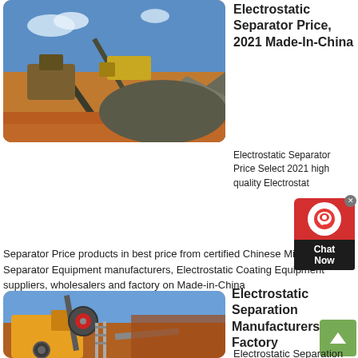[Figure (photo): Mining conveyor belt and gravel piles on red earth under blue sky]
Electrostatic Separator Price, 2021 Made-In-China
Electrostatic Separator Price Select 2021 high quality Electrostatic Separator Price products in best price from certified Chinese Mining Separator Equipment manufacturers, Electrostatic Coating Equipment suppliers, wholesalers and factory on Made-in-China
get price
[Figure (photo): Yellow heavy mining crusher machine on red earth construction site]
Electrostatic Separation Manufacturers, Factory
Electrostatic Separation